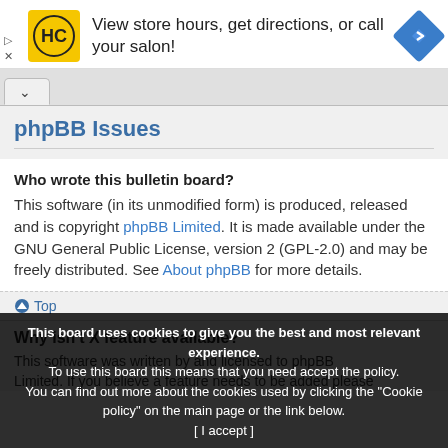[Figure (other): Advertisement banner with HC (Hair Club) logo, text 'View store hours, get directions, or call your salon!', and a blue diamond navigation icon]
phpBB Issues
Who wrote this bulletin board?
This software (in its unmodified form) is produced, released and is copyright phpBB Limited. It is made available under the GNU General Public License, version 2 (GPL-2.0) and may be freely distributed. See About phpBB for more details.
Top
Why isn't X feature available?
This software was written by and licensed to phpBB Limited. If you believe a feature needs to be added please
This board uses cookies to give you the best and most relevant experience. To use this board this means that you need accept the policy. You can find out more about the cookies used by clicking the "Cookie policy" on the main page or the link below.
[ I accept ]